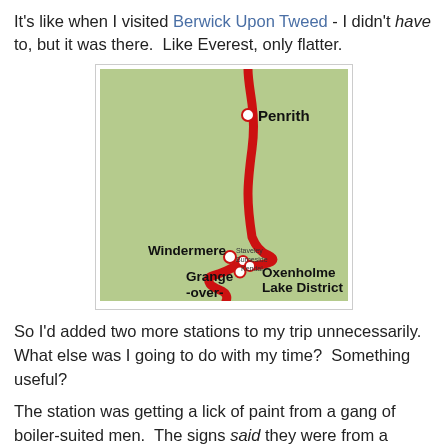It's like when I visited Berwick Upon Tweed - I didn't have to, but it was there.  Like Everest, only flatter.
[Figure (map): A map showing a railway route (thick red line) passing through Penrith at the top, down through Windermere, Staveley, Burneside, Kendal, Grange-over- and Oxenholme Lake District stations, on a green background with white circular markers at each station.]
So I'd added two more stations to my trip unnecessarily.  What else was I going to do with my time?  Something useful?
The station was getting a lick of paint from a gang of boiler-suited men.  The signs said they were from a private